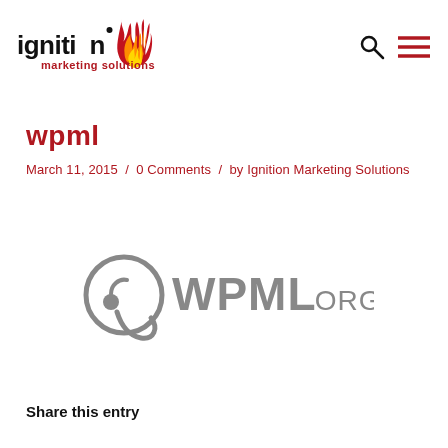ignition marketing solutions [logo] [search icon] [menu icon]
wpml
March 11, 2015  /  0 Comments  /  by Ignition Marketing Solutions
[Figure (logo): WPML.org logo — a stylized Q/swirl icon in dark gray followed by bold text WPML.ORG in gray]
Share this entry